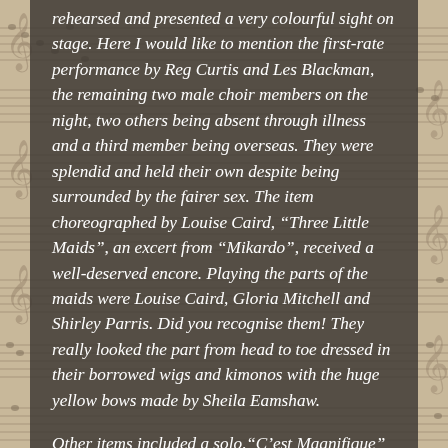rehearsed and presented a very colourful sight on stage. Here I would like to mention the first-rate performance by Reg Curtis and Les Blackman, the remaining two male choir members on the night, two others being absent through illness and a third member being overseas. They were splendid and held their own despite being surrounded by the fairer sex. The item choreographed by Louise Caird, "Three Little Maids", an excert from "Mikardo", received a well-deserved encore. Playing the parts of the maids were Louise Caird, Gloria Mitchell and Shirley Parris. Did you recognise them! They really looked the part from head to toe dressed in their borrowed wigs and kimonos with the huge yellow bows made by Sheila Eamshaw.
Other items included a solo, "C'est Magnifique" by Gloria Mitchell, dressed beautifully in the spirit of